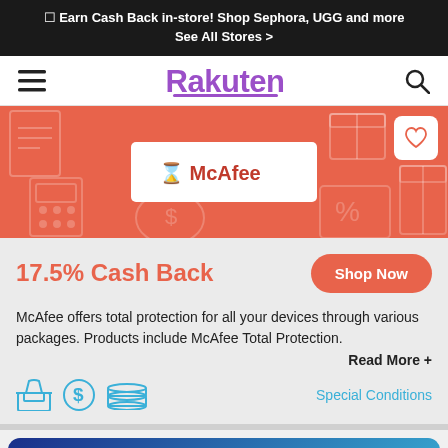☐ Earn Cash Back in-store! Shop Sephora, UGG and more
See All Stores >
[Figure (logo): Rakuten navigation bar with hamburger menu, Rakuten logo in purple, and search icon]
[Figure (illustration): McAfee store hero banner with salmon/coral background, decorative shopping icons, McAfee logo in white box, and heart/favorite button]
17.5% Cash Back
McAfee offers total protection for all your devices through various packages. Products include McAfee Total Protection.
Read More +
Special Conditions
[Figure (illustration): Bottom card with dark blue to light blue gradient background showing McAfee with circular avatar placeholder, name McAfee, and 17.5% Cash Back text on right]